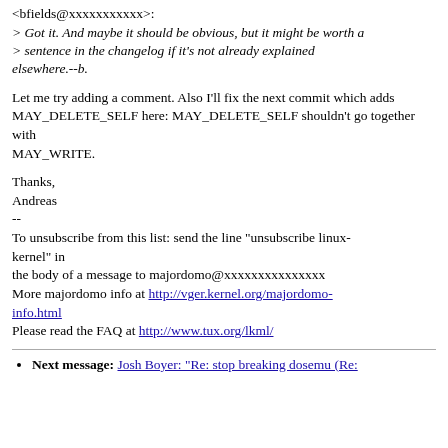<bfields@xxxxxxxxxxx>:
> Got it. And maybe it should be obvious, but it might be worth a > sentence in the changelog if it's not already explained elsewhere.--b.
Let me try adding a comment. Also I'll fix the next commit which adds MAY_DELETE_SELF here: MAY_DELETE_SELF shouldn't go together with MAY_WRITE.
Thanks,
Andreas
--
To unsubscribe from this list: send the line "unsubscribe linux-kernel" in
the body of a message to majordomo@xxxxxxxxxxxxxxx
More majordomo info at http://vger.kernel.org/majordomo-info.html
Please read the FAQ at http://www.tux.org/lkml/
Next message: Josh Boyer: "Re: stop breaking dosemu (Re: